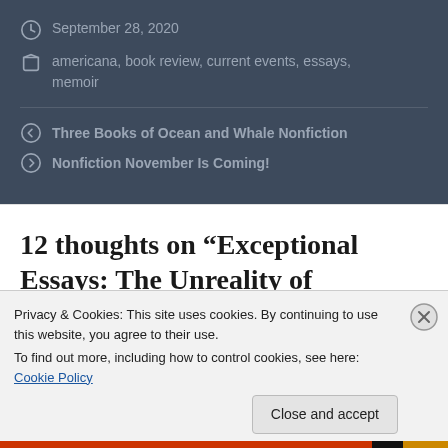September 28, 2020
americana, book review, current events, essays, memoir
Three Books of Ocean and Whale Nonfiction
Nonfiction November Is Coming!
12 thoughts on “Exceptional Essays: The Unreality of Memory; Here For it”
Privacy & Cookies: This site uses cookies. By continuing to use this website, you agree to their use.
To find out more, including how to control cookies, see here: Cookie Policy
Close and accept